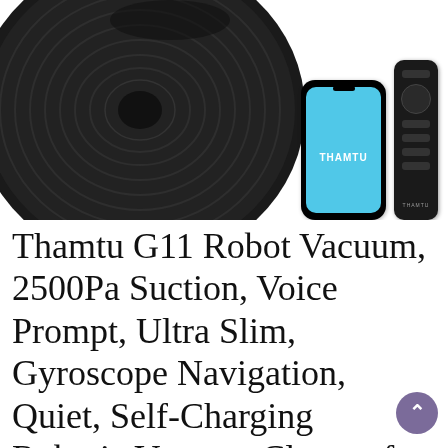[Figure (photo): Product photo of Thamtu G11 robot vacuum cleaner (black, circular, top view) with a smartphone showing the Thamtu app (blue screen) and a black remote control beside it.]
Thamtu G11 Robot Vacuum, 2500Pa Suction, Voice Prompt, Ultra Slim, Gyroscope Navigation, Quiet, Self-Charging Robotic Vacuum Cleaner for Pet Hairs, Hard Floor, Medium-Pile Carpet